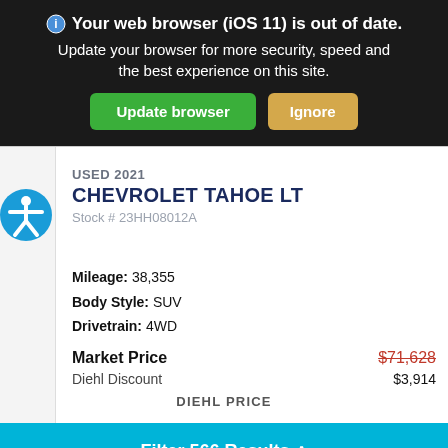🌐 Your web browser (iOS 11) is out of date. Update your browser for more security, speed and the best experience on this site. [Update browser] [Ignore]
USED 2021 CHEVROLET TAHOE LT
Stock # 23HH08012A
Mileage: 38,355
Body Style: SUV
Drivetrain: 4WD
Market Price $71,628
Diehl Discount $3,914
DIEHL PRICE
Filter 566 Results ^